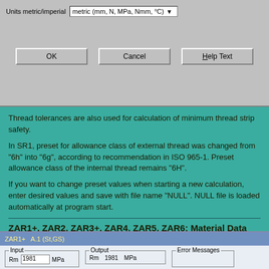[Figure (screenshot): Windows dialog box showing units selection 'metric (mm, N, MPa, Nmm, °C)' with OK, Cancel, and Help Text buttons]
Thread tolerances are also used for calculation of minimum thread strip safety.
In SR1, preset for allowance class of external thread was changed from "6h" into "6g", according to recommendation in ISO 965-1. Preset allowance class of the internal thread remains "6H".
If you want to change preset values when starting a new calculation, enter desired values and save with file name "NULL". NULL file is loaded automatically at program start.
ZAR1+, ZAR2, ZAR3+, ZAR4, ZAR5, ZAR6: Material Data and Hardness Conversion
[Figure (screenshot): ZAR1+ software interface showing A.1 (St,GS) panel with Input group (Rm 1981 MPa) and Output group (Rm 1981 MPa) and Error Messages group]